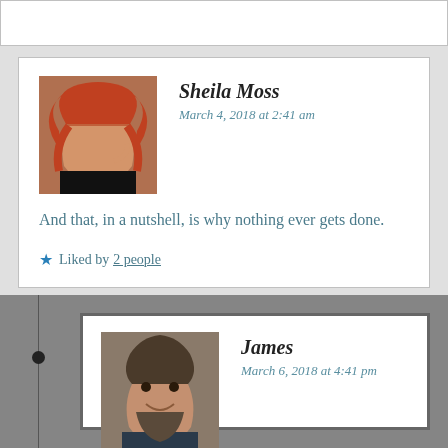Sheila Moss
March 4, 2018 at 2:41 am
And that, in a nutshell, is why nothing ever gets done.
Liked by 2 people
James
March 6, 2018 at 4:41 pm
It really is
Like